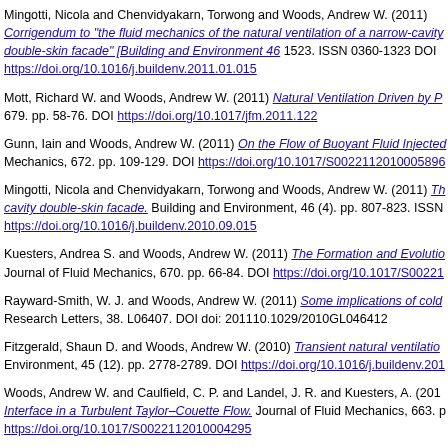Mingotti, Nicola and Chenvidyakarn, Torwong and Woods, Andrew W. (2011) Corrigendum to 'The fluid mechanics of the natural ventilation of a narrow-cavity double-skin facade' [Building and Environment 46 (2011) 807-823]. pp. 1519-1523. ISSN 0360-1323 DOI https://doi.org/10.1016/j.buildenv.2011.01.015
Mott, Richard W. and Woods, Andrew W. (2011) Natural Ventilation Driven by Periodic Gusts. Journal of Fluid Mechanics, 679. pp. 58-76. DOI https://doi.org/10.1017/jfm.2011.122
Gunn, Iain and Woods, Andrew W. (2011) On the Flow of Buoyant Fluid Injected into a Stratified Medium. Journal of Fluid Mechanics, 672. pp. 109-129. DOI https://doi.org/10.1017/S002211201000589
Mingotti, Nicola and Chenvidyakarn, Torwong and Woods, Andrew W. (2011) The fluid mechanics of the natural ventilation of a narrow-cavity double-skin facade. Building and Environment, 46 (4). pp. 807-823. ISSN https://doi.org/10.1016/j.buildenv.2010.09.015
Kuesters, Andrea S. and Woods, Andrew W. (2011) The Formation and Evolution of a Gravity Current at the Base of a Slope. Journal of Fluid Mechanics, 670. pp. 66-84. DOI https://doi.org/10.1017/S00221
Rayward-Smith, W. J. and Woods, Andrew W. (2011) Some implications of cold-CO2 injection into deep saline aquifers. Geophysical Research Letters, 38. L06407. DOI doi: 201110.1029/2010GL046412
Fitzgerald, Shaun D. and Woods, Andrew W. (2010) Transient natural ventilation of a room with a distributed heat source. Building and Environment, 45 (12). pp. 2778-2789. DOI https://doi.org/10.1016/j.buildenv.201
Woods, Andrew W. and Caulfield, C. P. and Landel, J. R. and Kuesters, A. (2010) Non-invasive Turbulent Mixing across a Density Interface in a Turbulent Taylor-Couette Flow. Journal of Fluid Mechanics, 663. https://doi.org/10.1017/S0022112010004295
Mott, R.W and Woods, A. W. (2010) A model of overturn of CO2 laden lakes triggered by bottom drainage. Journal of Volcanology and Geothermal Research, 192. pp. 151-158. DOI https://doi.org/10.1016/j.jvolgeore
Chenvidyakarn, Torwong and Woods, Andrew W. (2010) On the natural ventilation...